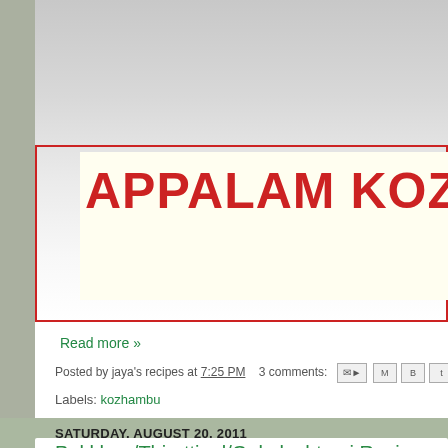[Figure (screenshot): Blog header image showing 'APPALAM KOZ' text in red on cream/yellow background inside a red border frame, with grey gradient top area]
Read more »
Posted by jaya's recipes at 7:25 PM   3 comments:
Labels: kozhambu
SATURDAY, AUGUST 20, 2011
Pal khoa/Thirattipal/Gokulashtami Recipes
This Gokulashtami(lord krishna's